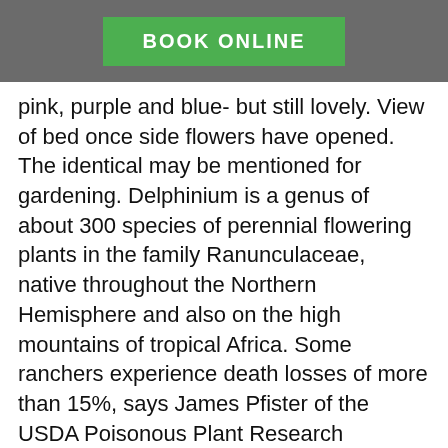BOOK ONLINE
pink, purple and blue- but still lovely. View of bed once side flowers have opened. The identical may be mentioned for gardening. Delphinium is a genus of about 300 species of perennial flowering plants in the family Ranunculaceae, native throughout the Northern Hemisphere and also on the high mountains of tropical Africa. Some ranchers experience death losses of more than 15%, says James Pfister of the USDA Poisonous Plant Research Laboratory (PPRL) in Logan, UT.As a result, the presence of tall larkspur on many ranges forces stockmen Join our friendly community that shares tips and ideas for gardens, along with seeds and plants. Images of Seedlings by Leaf Shape Dicotyledons - Palmate leaves. Prev Next. Download Image. Both of our mixes contain shades of blue,